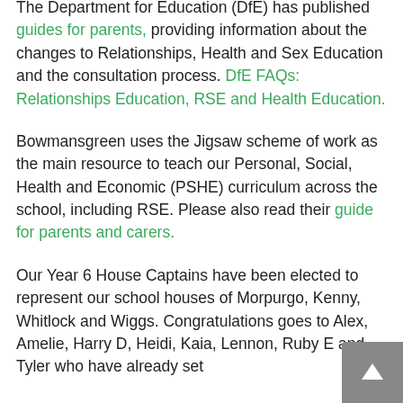The Department for Education (DfE) has published guides for parents, providing information about the changes to Relationships, Health and Sex Education and the consultation process. DfE FAQs: Relationships Education, RSE and Health Education.
Bowmansgreen uses the Jigsaw scheme of work as the main resource to teach our Personal, Social, Health and Economic (PSHE) curriculum across the school, including RSE. Please also read their guide for parents and carers.
Our Year 6 House Captains have been elected to represent our school houses of Morpurgo, Kenny, Whitlock and Wiggs. Congratulations goes to Alex, Amelie, Harry D, Heidi, Kaia, Lennon, Ruby E and Tyler who have already set